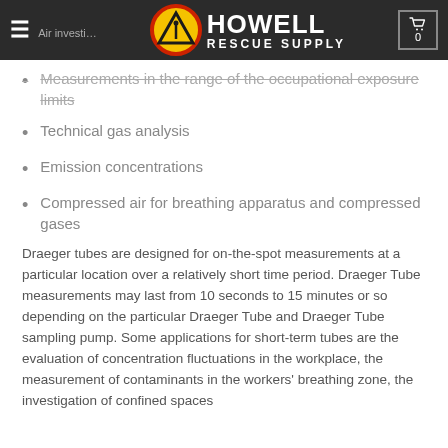Howell Rescue Supply
Measurements in the range of the occupational exposure limits
Technical gas analysis
Emission concentrations
Compressed air for breathing apparatus and compressed gases
Draeger tubes are designed for on-the-spot measurements at a particular location over a relatively short time period. Draeger Tube measurements may last from 10 seconds to 15 minutes or so depending on the particular Draeger Tube and Draeger Tube sampling pump. Some applications for short-term tubes are the evaluation of concentration fluctuations in the workplace, the measurement of contaminants in the workers' breathing zone, the investigation of confined spaces